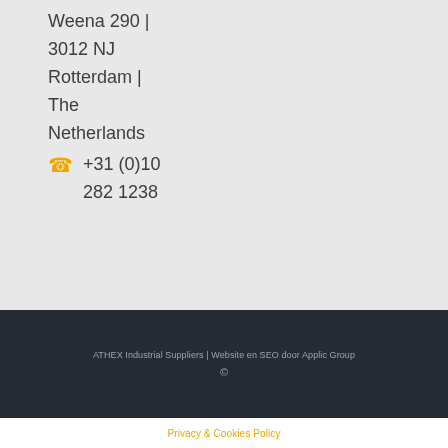Weena 290 | 3012 NJ Rotterdam | The Netherlands
+31 (0)10 282 1238
ATHEX Industrial Suppliers | Website en SEO door Applic Group ©
Privacy & Cookies Policy